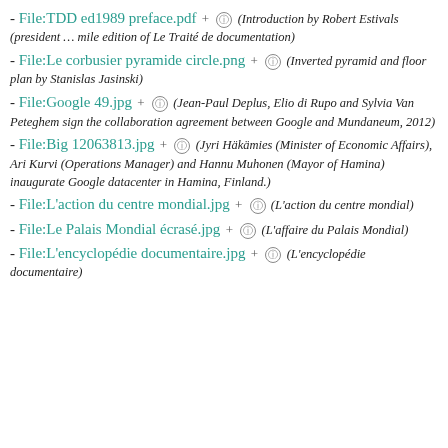- File:TDD ed1989 preface.pdf + (Introduction by Robert Estivals (president … mile edition of Le Traité de documentation)
- File:Le corbusier pyramide circle.png + (Inverted pyramid and floor plan by Stanislas Jasinski)
- File:Google 49.jpg + (Jean-Paul Deplus, Elio di Rupo and Sylvia Van Peteghem sign the collaboration agreement between Google and Mundaneum, 2012)
- File:Big 12063813.jpg + (Jyri Häkämies (Minister of Economic Affairs), Ari Kurvi (Operations Manager) and Hannu Muhonen (Mayor of Hamina) inaugurate Google datacenter in Hamina, Finland.)
- File:L'action du centre mondial.jpg + (L'action du centre mondial)
- File:Le Palais Mondial écrasé.jpg + (L'affaire du Palais Mondial)
- File:L'encyclopédie documentaire.jpg + (L'encyclopédie documentaire)